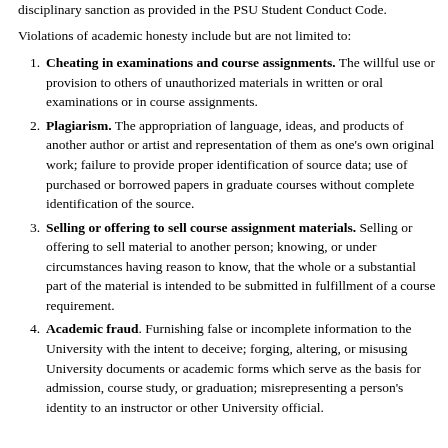disciplinary sanction as provided in the PSU Student Conduct Code.
Violations of academic honesty include but are not limited to:
Cheating in examinations and course assignments. The willful use or provision to others of unauthorized materials in written or oral examinations or in course assignments.
Plagiarism. The appropriation of language, ideas, and products of another author or artist and representation of them as one’s own original work; failure to provide proper identification of source data; use of purchased or borrowed papers in graduate courses without complete identification of the source.
Selling or offering to sell course assignment materials. Selling or offering to sell material to another person; knowing, or under circumstances having reason to know, that the whole or a substantial part of the material is intended to be submitted in fulfillment of a course requirement.
Academic fraud. Furnishing false or incomplete information to the University with the intent to deceive; forging, altering, or misusing University documents or academic forms which serve as the basis for admission, course study, or graduation; misrepresenting a person’s identity to an instructor or other University official.